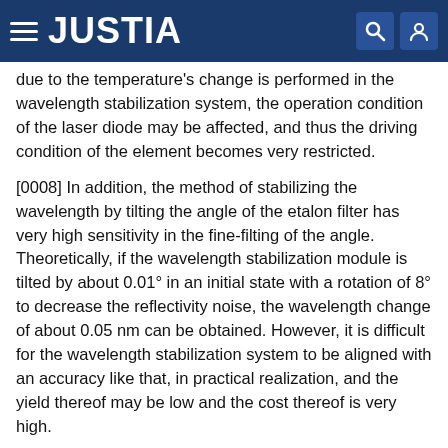JUSTIA
due to the temperature's change is performed in the wavelength stabilization system, the operation condition of the laser diode may be affected, and thus the driving condition of the element becomes very restricted.
[0008] In addition, the method of stabilizing the wavelength by tilting the angle of the etalon filter has very high sensitivity in the fine-filting of the angle. Theoretically, if the wavelength stabilization module is tilted by about 0.01° in an initial state with a rotation of 8° to decrease the reflectivity noise, the wavelength change of about 0.05 nm can be obtained. However, it is difficult for the wavelength stabilization system to be aligned with an accuracy like that, in practical realization, and the yield thereof may be low and the cost thereof is very high.